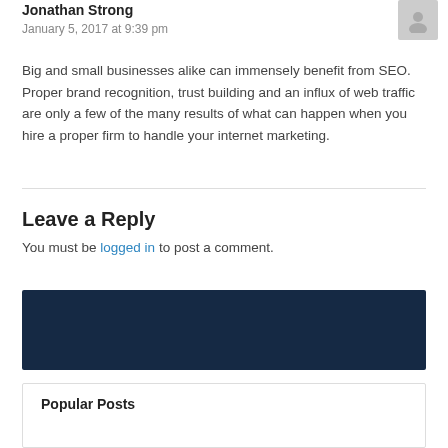Jonathan Strong
January 5, 2017 at 9:39 pm
Big and small businesses alike can immensely benefit from SEO. Proper brand recognition, trust building and an influx of web traffic are only a few of the many results of what can happen when you hire a proper firm to handle your internet marketing.
Leave a Reply
You must be logged in to post a comment.
[Figure (other): Search bar with dark navy blue background and light gray input field with search icon]
Popular Posts